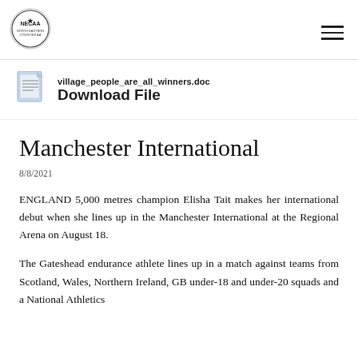NECAA logo and navigation menu
[Figure (other): Document file icon with filename village_people_are_all_winners.doc and Download File link]
Manchester International
8/8/2021
ENGLAND 5,000 metres champion Elisha Tait makes her international debut when she lines up in the Manchester International at the Regional Arena on August 18.
The Gateshead endurance athlete lines up in a match against teams from Scotland, Wales, Northern Ireland, GB under-18 and under-20 squads and a National Athletics